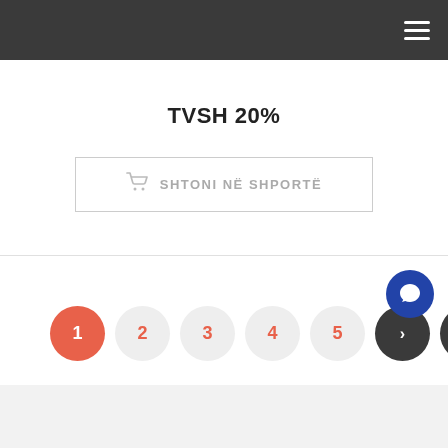Navigation bar with hamburger menu
TVSH 20%
SHTONI NË SHPORTË
[Figure (infographic): Pagination row: circles labeled 1 (active red), 2, 3, 4, 5, next arrow (>), last arrow (>>). Blue chat bubble in top right corner.]
BULETIN INFORMATIV
Vendosni këtu emailin tuaj...
PAJTOHEM